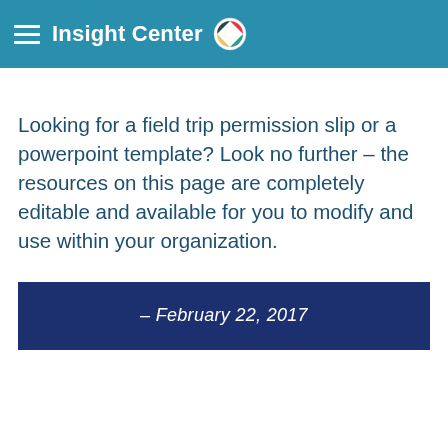Insight Center
Looking for a field trip permission slip or a powerpoint template? Look no further – the resources on this page are completely editable and available for you to modify and use within your organization.
– February 22, 2017